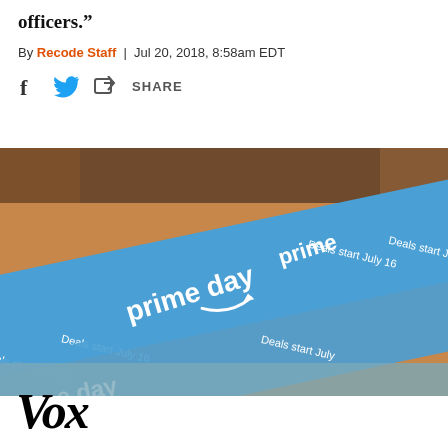officers."
By Recode Staff | Jul 20, 2018, 8:58am EDT
SHARE
[Figure (photo): Amazon Prime Day branded packing tape on a cardboard box. The blue tape reads 'prime day' and 'Deals start July 16' repeatedly with the Amazon smile logo.]
[Figure (logo): Vox media logo in bold black italic serif font]